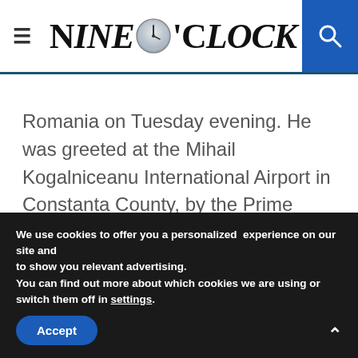Nine O'Clock
Romania on Tuesday evening. He was greeted at the Mihail Kogalniceanu International Airport in Constanta County, by the Prime Minister of Romania, Nicolae Ciuca.
We use cookies to offer you a personalized experience on our site and to show you relevant advertising. You can find out more about which cookies we are using or switch them off in settings.